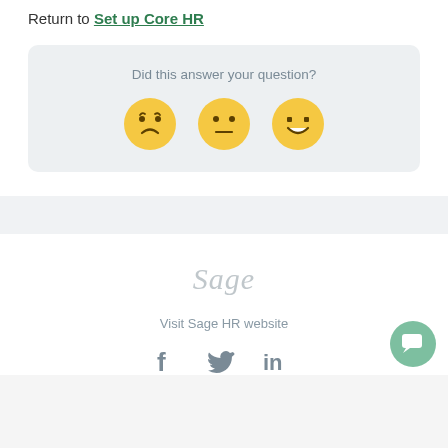Return to Set up Core HR
Did this answer your question?
[Figure (illustration): Three emoji faces: sad (frowning), neutral, and happy (grinning) as feedback buttons]
[Figure (logo): Sage logo in light grey italic text]
Visit Sage HR website
[Figure (illustration): Social media icons: Facebook (f), Twitter (bird), LinkedIn (in)]
[Figure (illustration): Green circular chat button with speech bubble icon in bottom right corner]